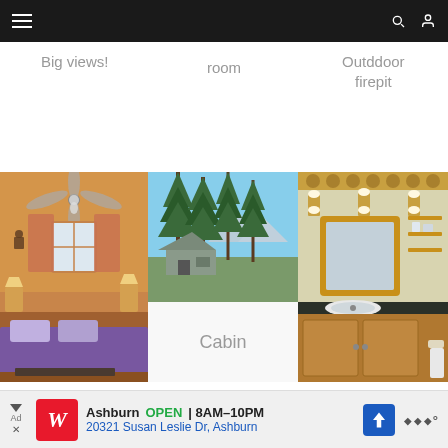Navigation bar with hamburger menu, search and user icons
Big views!
room
Outddoor firepit
[Figure (photo): Three photos in a row: left shows a rustic bedroom with ceiling fan and purple bedspread; center top shows a cabin exterior surrounded by tall pine trees; right shows a cabin bathroom with wooden mirror frame and vanity]
Cabin
This website uses cookies to improve your experience. We'll assume you're ok with this, but you can opt-out if you wish.
Ad: Walgreens — Ashburn OPEN 8AM–10PM — 20321 Susan Leslie Dr, Ashburn